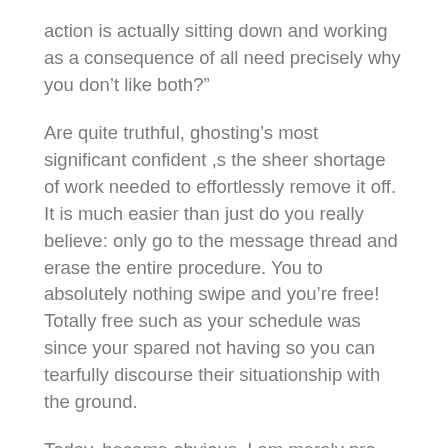action is actually sitting down and working as a consequence of all need precisely why you don’t like both?”
Are quite truthful, ghosting’s most significant confident ,s the sheer shortage of work needed to effortlessly remove it off. It is much easier than just do you really believe: only go to the message thread and erase the entire procedure. You to absolutely nothing swipe and you’re free! Totally free such as your schedule was since your spared not having so you can tearfully discourse their situationship with the ground.
Today, become obvious, I am merely pro-ghosting